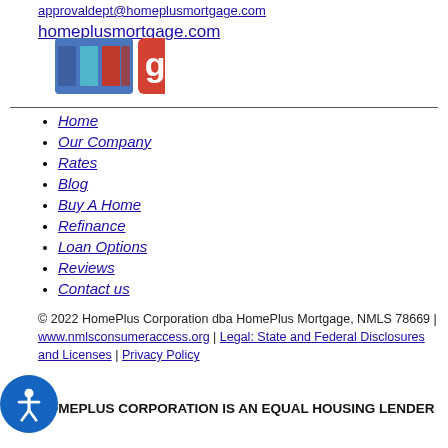approvaldept@homeplusmortgage.com
homeplusmortgage.com
[Figure (logo): Facebook and Google+ social media icons side by side]
Home
Our Company
Rates
Blog
Buy A Home
Refinance
Loan Options
Reviews
Contact us
© 2022 HomePlus Corporation dba HomePlus Mortgage, NMLS 78669 | www.nmlsconsumeraccess.org | Legal: State and Federal Disclosures and Licenses | Privacy Policy
HOMEPLUS CORPORATION IS AN EQUAL HOUSING LENDER